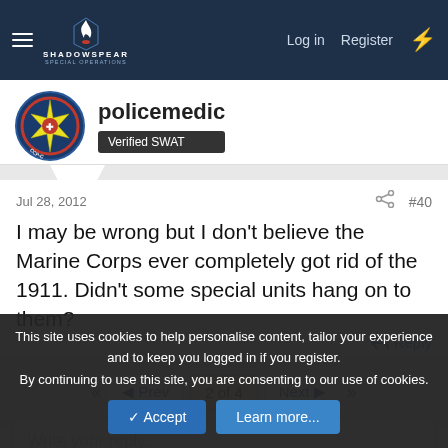ShadowSpear Special Operations - Log in | Register
[Figure (logo): ShadowSpear Special Operations logo with flame icon]
policemedic
Verified SWAT
Jul 28, 2012
#40
I may be wrong but I don't believe the Marine Corps ever completely got rid of the 1911. Didn't some special units hang on to them?
Reply
2 of 4
Write your reply...
This site uses cookies to help personalise content, tailor your experience and to keep you logged in if you register.
By continuing to use this site, you are consenting to our use of cookies.
Accept
Learn more...